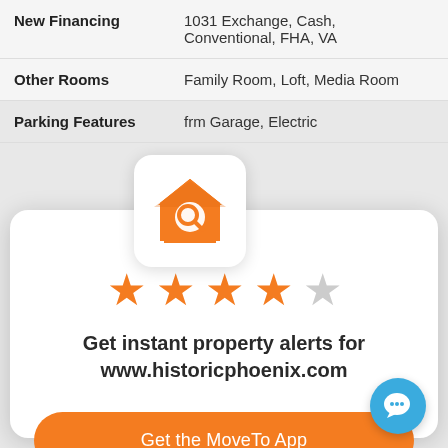| Label | Value |
| --- | --- |
| New Financing | 1031 Exchange, Cash, Conventional, FHA, VA |
| Other Rooms | Family Room, Loft, Media Room |
| Parking Features | frm Garage, Electric |
[Figure (logo): House with magnifying glass icon — real estate search app logo]
[Figure (other): 4 out of 5 stars rating]
Get instant property alerts for www.historicphoenix.com
Get the MoveTo App
Not Now